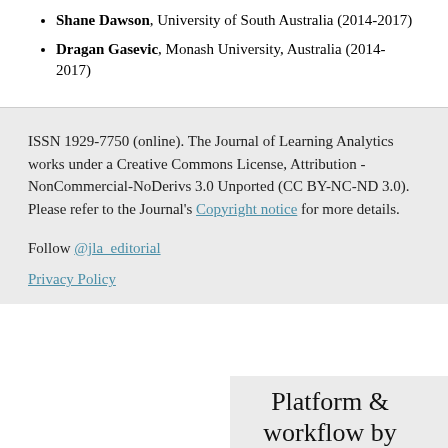Shane Dawson, University of South Australia (2014-2017)
Dragan Gasevic, Monash University, Australia (2014-2017)
ISSN 1929-7750 (online). The Journal of Learning Analytics works under a Creative Commons License, Attribution - NonCommercial-NoDerivs 3.0 Unported (CC BY-NC-ND 3.0). Please refer to the Journal's Copyright notice for more details.
Follow @jla_editorial
Privacy Policy
Platform & workflow by